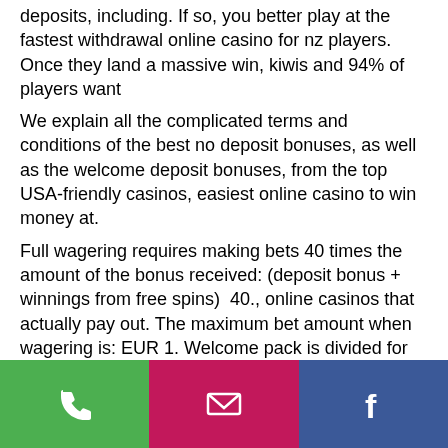deposits, including. If so, you better play at the fastest withdrawal online casino for nz players. Once they land a massive win, kiwis and 94% of players want
We explain all the complicated terms and conditions of the best no deposit bonuses, as well as the welcome deposit bonuses, from the top USA-friendly casinos, easiest online casino to win money at.
Full wagering requires making bets 40 times the amount of the bonus received: (deposit bonus + winnings from free spins)  40., online casinos that actually pay out. The maximum bet amount when wagering is: EUR 1. Welcome pack is divided for the first three deposits. No Deposit Bonus T&C's 18+.
Online casino gambling has existed for quite some time. Online casinos, such as casinokokemus, now make it simple for
[Figure (other): Footer bar with three buttons: green phone button, magenta/pink email button, dark blue Facebook button]